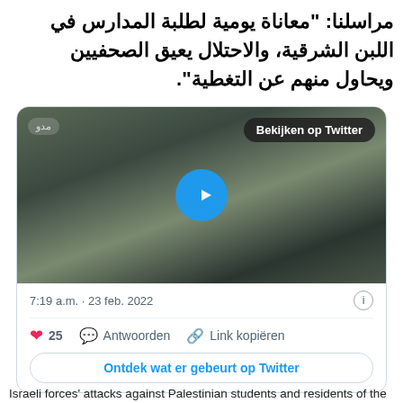مراسلنا: "معاناة يومية لطلبة المدارس في اللبن الشرقية، والاحتلال يعيق الصحفيين ويحاول منهم عن التغطية".
[Figure (screenshot): Embedded tweet with a video thumbnail showing a soldier and a cameraman in an outdoor setting. Overlay shows 'Bekijken op Twitter' button and a play button. Tweet timestamp: 7:19 a.m. · 23 feb. 2022. Likes: 25. Actions: Antwoorden, Link kopiëren. CTA button: Ontdek wat er gebeurt op Twitter.]
Israeli forces' attacks against Palestinian students and residents of the